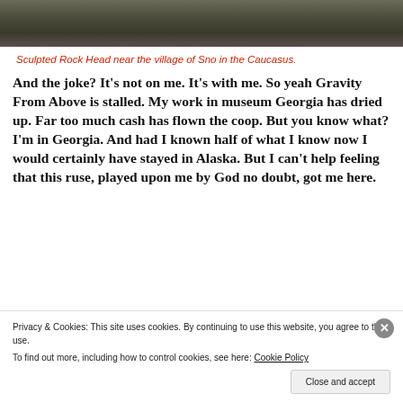[Figure (photo): Top portion of a photo showing rocky ground/terrain in the Caucasus mountains]
Sculpted Rock Head near the village of Sno in the Caucasus.
And the joke? It’s not on me. It’s with me. So yeah Gravity From Above is stalled. My work in museum Georgia has dried up. Far too much cash has flown the coop. But you know what? I’m in Georgia. And had I known half of what I know now I would certainly have stayed in Alaska. But I can’t help feeling that this ruse, played upon me by God no doubt, got me here.
[Figure (photo): Bottom portion of another photo, partially visible, showing a figure]
Privacy & Cookies: This site uses cookies. By continuing to use this website, you agree to their use.
To find out more, including how to control cookies, see here: Cookie Policy